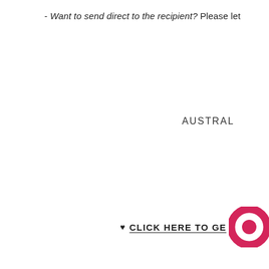- Want to send direct to the recipient? Please let
AUSTRAL
♥ CLICK HERE TO GE